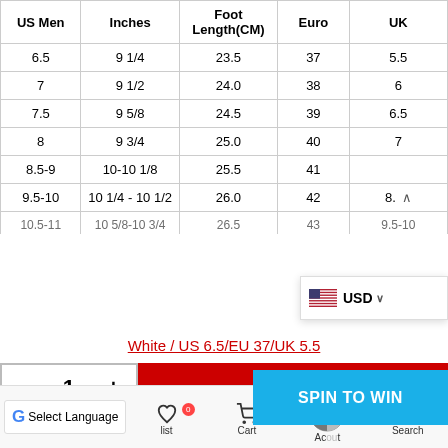| US Men | Inches | Foot Length(CM) | Euro | UK |
| --- | --- | --- | --- | --- |
| 6.5 | 9 1/4 | 23.5 | 37 | 5.5 |
| 7 | 9 1/2 | 24.0 | 38 | 6 |
| 7.5 | 9 5/8 | 24.5 | 39 | 6.5 |
| 8 | 9 3/4 | 25.0 | 40 | 7 |
| 8.5-9 | 10-10 1/8 | 25.5 | 41 |  |
| 9.5-10 | 10 1/4 - 10 1/2 | 26.0 | 42 | 8. |
| 10.5-11 | 10 5/8-10 3/4 | 26.5 | 43 | 9.5-10 |
White / US 6.5/EU 37/UK 5.5
- 1 +
ADD TO
SPIN TO WIN
Select Language
list   Cart   Account   Search